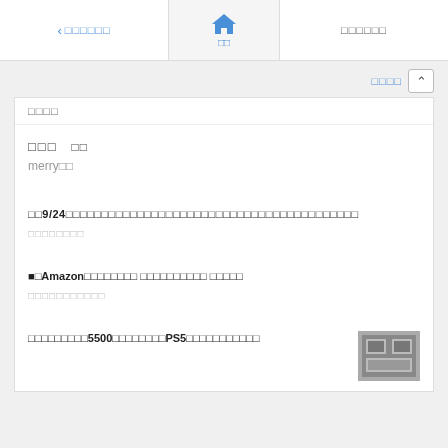◁ □□□□□□  ⌂ □□  □□□□□□
□□□□  ∧
□□□□
□□□  □□
merry□□
□□9/24□□□□□□□□□□□□□□□□□□□□□□□□□□□□□□□□□□□
□□□□□□□□
■□Amazon□□□□□□□□ □□□□□□□□□□ □□□□□
□□□□□□□□□□□
□□□□□□□□□5500□□□□□□□□PS5□□□□□□□□□□□